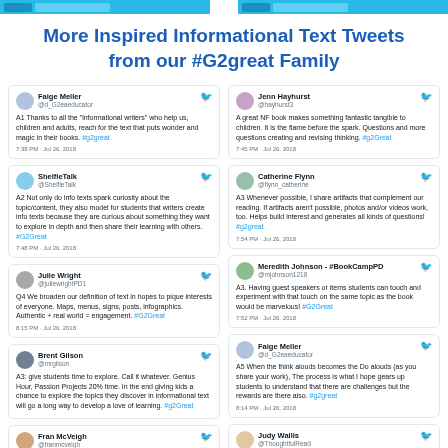More Inspired Informational Text Tweets from our #G2great Family
[Figure (screenshot): Tweet from Faige Meller (@d_G2eaeducator): A1 Thanks to all the 'informational writers' who help us, children and adults, reach for the text that puts wonder and magic in their books. #g2great — 7:38 PM · Jul 26, 2018]
[Figure (screenshot): Tweet from Jenn Hayhurst (@hayhurst3): A great NF book makes something fantastic tangible to children. It is the flame before the spark. Questions and more questions creating and revising thinking. #g2Great — 7:45 PM · Jul 26, 2018]
[Figure (screenshot): Tweet from ShelfieTalk (@ShelfieTalk): A2 Not only do info texts spark curiosity about the topic/content, they also model for students that writers create info texts because they are curious about something they want to explore in depth and then share their learning with others. #G2Great — 7:48 PM · Jul 26, 2018]
[Figure (screenshot): Tweet from Catherine Flynn (@flynn_catherine): A3 Whenever possible, I share artifacts that complement our reading. If artifacts aren't possible, photos and/or videos work, too. Helps build interest and generates all kinds of questions! #g2great — 7:54 PM · Jul 26, 2018]
[Figure (screenshot): Tweet from Julie Wright (@juliewrightPD1): Q4 We broaden our definition of text in hopes to pique interests of everyone. Maps, menus, signs, posts, infographics. Authentic + real world = engagement. #G2Great — 8:15 PM · Jul 26, 2018]
[Figure (screenshot): Tweet from Meredith Johnson - #BookCampPD (@mjohnson1218): A3. Having guest speakers or items students can touch and experiment with that touch on the same topic as the book would be marvelous! #G2Great — 7:52 PM · Jul 26, 2018]
[Figure (screenshot): Tweet from Brent Gilson (@mrgilson): A3: give students time to explore. Call it whatever. Genius Hour, Passion Projects 20% time. In the end giving kids a chance to explore the topics they discover in informational text will go a long way to develop a love of learning. #g2Great — ]
[Figure (screenshot): Tweet from Faige Meller (@d_G2eaeducator): A5 When the think alouds becomes the Do alouds (as you share your work), The process is what I hope gears up students to understand that there are challenges but the rewards are there also. #g2great — 8:14 PM · Jul 26, 2018]
[Figure (screenshot): Tweet from Fran McVeigh (@franmcveigh): A3: Learn the back story about books. Why did the author choose this? How many revisions? Time from start to publish?]
[Figure (screenshot): Tweet from Judy Wallis (@ThoughtfulRead): A5: Too often students are taught formulas for organizing. When we model both process and structure, kids gain insights.]